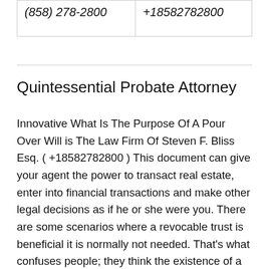| (858) 278-2800 | +18582782800 |
Quintessential Probate Attorney
Innovative What Is The Purpose Of A Pour Over Will is The Law Firm Of Steven F. Bliss Esq. ( +18582782800 ) This document can give your agent the power to transact real estate, enter into financial transactions and make other legal decisions as if he or she were you. There are some scenarios where a revocable trust is beneficial it is normally not needed. That’s what confuses people; they think the existence of a will means there’s no probate, but the fact is, you really can’t do much with the will without